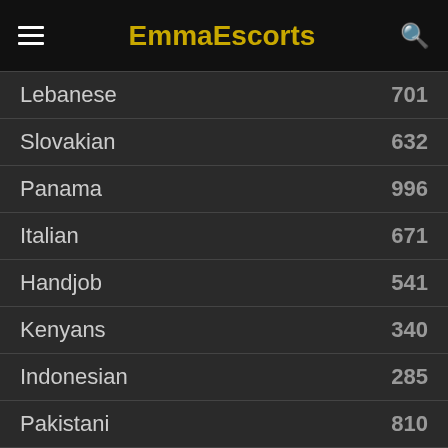EmmaEscorts
Lebanese  701
Slovakian  632
Panama  996
Italian  671
Handjob  541
Kenyans  340
Indonesian  285
Pakistani  810